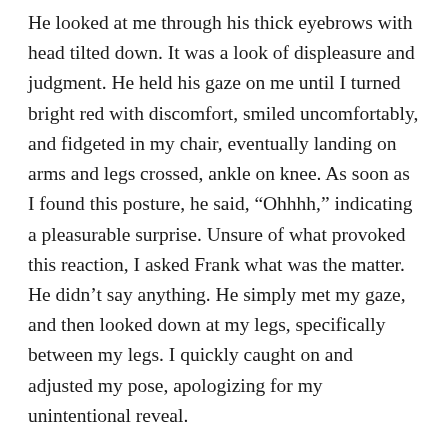He looked at me through his thick eyebrows with head tilted down. It was a look of displeasure and judgment. He held his gaze on me until I turned bright red with discomfort, smiled uncomfortably, and fidgeted in my chair, eventually landing on arms and legs crossed, ankle on knee. As soon as I found this posture, he said, “Ohhhh,” indicating a pleasurable surprise. Unsure of what provoked this reaction, I asked Frank what was the matter. He didn’t say anything. He simply met my gaze, and then looked down at my legs, specifically between my legs. I quickly caught on and adjusted my pose, apologizing for my unintentional reveal.

At that moment, his reason for wanting me in his office, alone and early in the morning, became crystal clear. He was not bothered in the slightest by leg crossing;